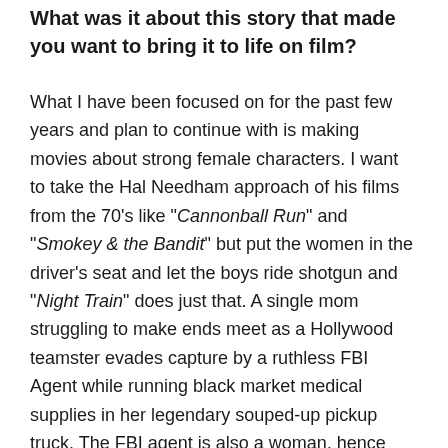What was it about this story that made you want to bring it to life on film?
What I have been focused on for the past few years and plan to continue with is making movies about strong female characters. I want to take the Hal Needham approach of his films from the 70's like "Cannonball Run" and "Smokey & the Bandit" but put the women in the driver's seat and let the boys ride shotgun and "Night Train" does just that. A single mom struggling to make ends meet as a Hollywood teamster evades capture by a ruthless FBI Agent while running black market medical supplies in her legendary souped-up pickup truck. The FBI agent is also a woman, hence "Smokey & the Bandit". We have our star also as part of the 200 MPH Club, so we had 10-time World Record holder Valerie Thompson ride her